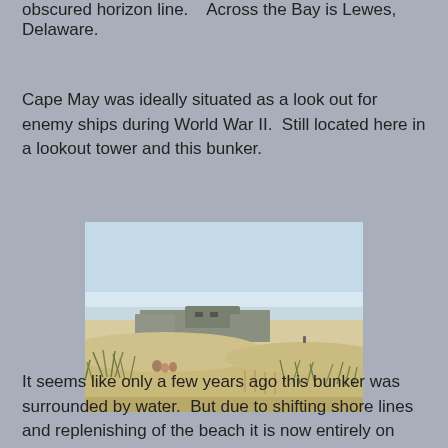obscured horizon line.    Across the Bay is Lewes, Delaware.
Cape May was ideally situated as a look out for enemy ships during World War II.  Still located here in a lookout tower and this bunker.
[Figure (photo): A WWII bunker on a sandy beach at Cape May. The concrete bunker structure sits low on white sand dunes with beach grass in the foreground and a blue sky with hazy horizon behind. A small figure is visible in the background near the water.]
It seems like only a few years ago this bunker was surrounded by water.  But due to shifting shore lines and replenishing of the beach it is now entirely on land.  Then for